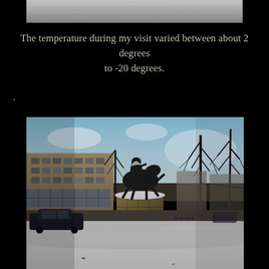[Figure (photo): Top portion of a photo showing a grey/snowy surface or ceiling, partial view]
The temperature during my visit varied between about 2 degrees to -20 degrees.
,
[Figure (photo): Winter scene with a snow-covered equestrian statue on a large stone pedestal in the center. Behind it are Soviet-era apartment/administrative buildings on the left, bare winter trees on the right. Snow covers the ground. A dark car is visible on the left. Overcast/bright sky.]